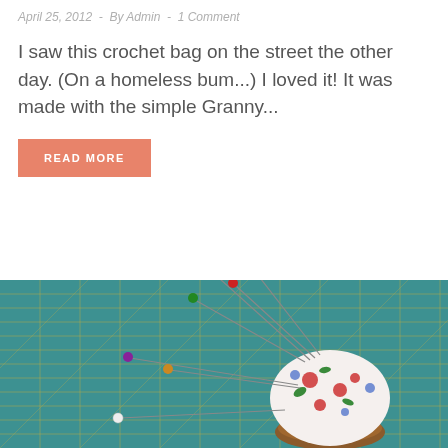April 25, 2012  -  By Admin  -  1 Comment
I saw this crochet bag on the street the other day. (On a homeless bum...) I loved it! It was made with the simple Granny...
READ MORE
[Figure (photo): A pincushion with colorful sewing pins on a teal green cutting mat with yellow grid lines]